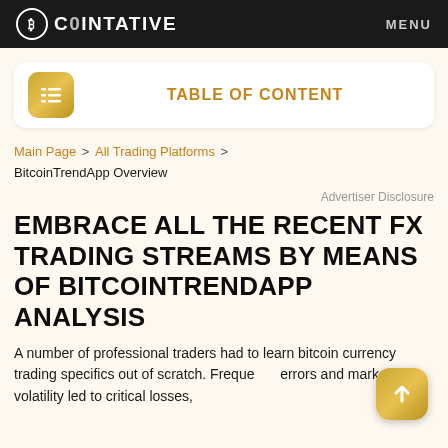COINTATIVE   MENU
TABLE OF CONTENT
Main Page > All Trading Platforms > BitcoinTrendApp Overview
Advertiser Disclosure
EMBRACE ALL THE RECENT FX TRADING STREAMS BY MEANS OF BITCOINTRENDAPP ANALYSIS
A number of professional traders had to learn bitcoin currency trading specifics out of scratch. Frequently errors and market volatility led to critical losses, and this led to long-term consequences.